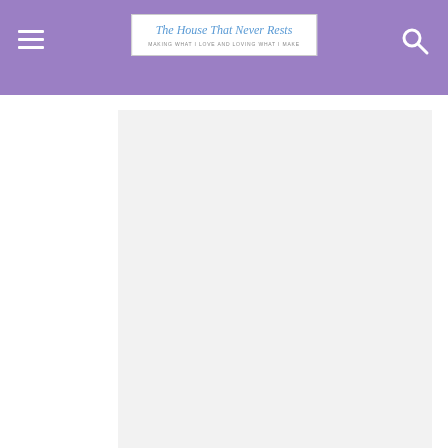The House That Never Rests — MAKING WHAT I LOVE AND LOVING WHAT I MAKE
[Figure (other): Advertisement/placeholder block (light gray rectangle)]
16/08/2014
In "Gamar app"
Entertaining Teens
[Figure (other): Advertisement/placeholder block (light gray rectangle)]